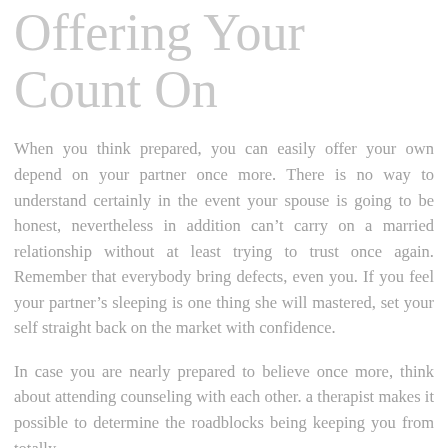Offering Your Count On
When you think prepared, you can easily offer your own depend on your partner once more. There is no way to understand certainly in the event your spouse is going to be honest, nevertheless in addition can't carry on a married relationship without at least trying to trust once again. Remember that everybody bring defects, even you. If you feel your partner's sleeping is one thing she will mastered, set your self straight back on the market with confidence.
In case you are nearly prepared to believe once more, think about attending counseling with each other. a therapist makes it possible to determine the roadblocks being keeping you from totally